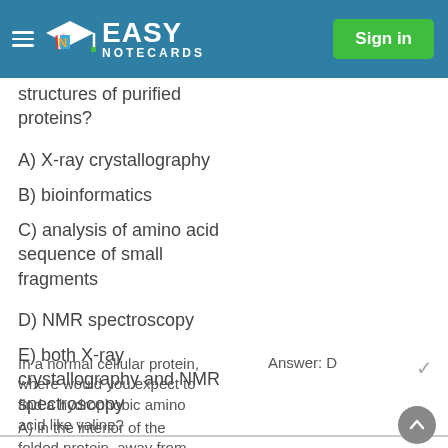Easy Notecards — Sign in
structures of purified proteins?
A) X-ray crystallography
B) bioinformatics
C) analysis of amino acid sequence of small fragments
D) NMR spectroscopy
E) both X-ray crystallography and NMR spectroscopy
In a normal cellular protein, where would you expect to find a hydrophobic amino acid like valine?
Answer: D
A) in the interior of the folded protein, away from